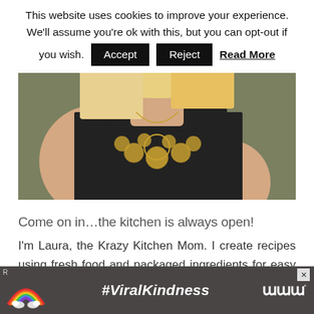This website uses cookies to improve your experience. We'll assume you're ok with this, but you can opt-out if you wish.   Accept   Reject   Read More
[Figure (photo): Close-up photo of a woman with blonde hair wearing a black sleeveless top and a gold statement necklace, against an olive/green background.]
Come on in...the kitchen is always open!
I'm Laura, the Krazy Kitchen Mom. I create recipes using fresh food and packaged ingredients for easy cooking.
[Figure (photo): Advertisement banner with dark background showing a colorful rainbow illustration and the text #ViralKindness in white italic bold text, with a media logo on the right and an X close button.]